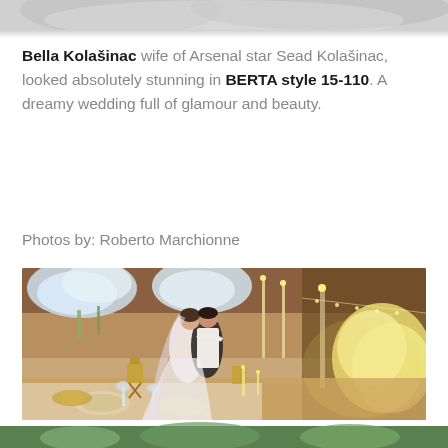[Figure (photo): Top partial photo showing a soft grey/white cloudy or fabric background]
Bella Kolašinac wife of Arsenal star Sead Kolašinac, looked absolutely stunning in BERTA style 15-110. A dreamy wedding full of glamour and beauty.
Photos by: Roberto Marchionne
[Figure (photo): Wedding reception photo showing a couple embracing on a dance floor surrounded by elaborate floral arrangements, candles, gold chairs, and elegant table settings with flowers and crystal glassware]
[Figure (photo): Bottom partial photo strip showing greenery/outdoor scene]